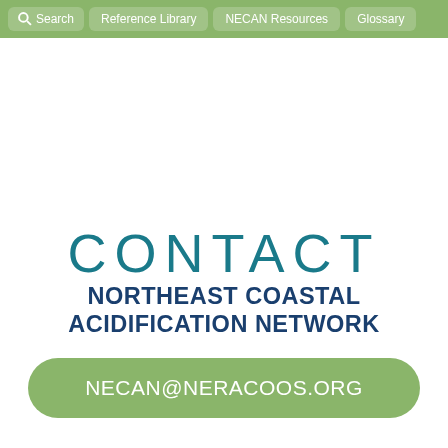Search  Reference Library  NECAN Resources  Glossary
CONTACT
NORTHEAST COASTAL ACIDIFICATION NETWORK
NECAN@NERACOOS.ORG